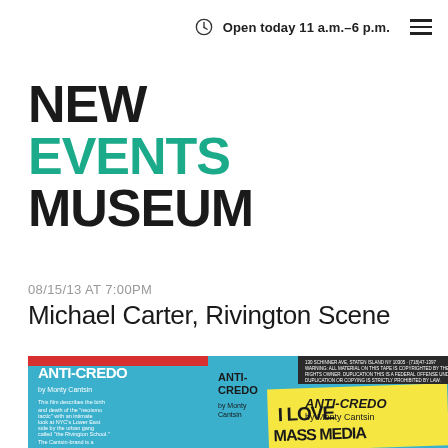Open today 11 a.m.–6 p.m.
NEW
EVENTS
MUSEUM
08/15/13 AT 7:00PM
Michael Carter, Rivington Scene
[Figure (photo): A blue-colored book/cassette cover showing 'ANTI-CREDO by Monty Cantsin' with text and a yellow sticky note reading 'I LOVE MASS MEDIA']